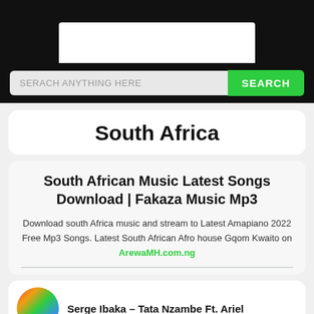[Figure (screenshot): Website header with dark background and white logo box]
[Figure (screenshot): Search bar with placeholder text 'SERACH ANYTHING HERE' and green SEARCH button]
South Africa
South African Music Latest Songs Download | Fakaza Music Mp3
Download south Africa music and stream to Latest Amapiano 2022 Free Mp3 Songs. Latest South African Afro house Gqom Kwaito on ArewaMH.com.ng
[Figure (photo): Colorful circular album art thumbnail]
Serge Ibaka – Tata Nzambe Ft. Ariel